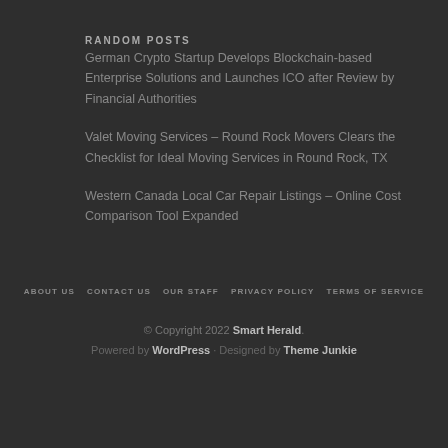RANDOM POSTS
German Crypto Startup Develops Blockchain-based Enterprise Solutions and Launches ICO after Review by Financial Authorities
Valet Moving Services – Round Rock Movers Clears the Checklist for Ideal Moving Services in Round Rock, TX
Western Canada Local Car Repair Listings – Online Cost Comparison Tool Expanded
ABOUT US  CONTACT US  OUR STAFF  PRIVACY POLICY  TERMS OF SERVICE
© Copyright 2022 Smart Herald.
Powered by WordPress · Designed by Theme Junkie